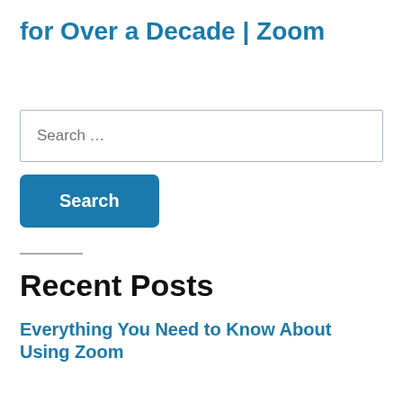for Over a Decade | Zoom
Search …
Search
Recent Posts
Everything You Need to Know About Using Zoom